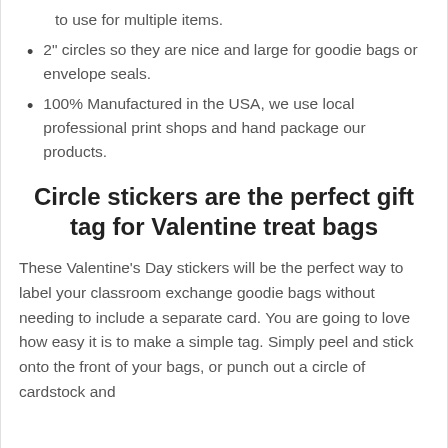40 stickers included, so there are plenty to use for multiple items.
2" circles so they are nice and large for goodie bags or envelope seals.
100% Manufactured in the USA, we use local professional print shops and hand package our products.
Circle stickers are the perfect gift tag for Valentine treat bags
These Valentine's Day stickers will be the perfect way to label your classroom exchange goodie bags without needing to include a separate card. You are going to love how easy it is to make a simple tag. Simply peel and stick onto the front of your bags, or punch out a circle of cardstock and